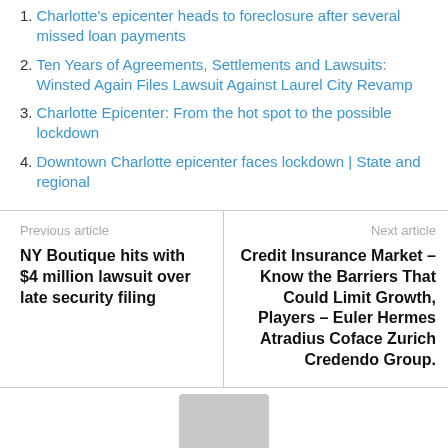1. Charlotte's epicenter heads to foreclosure after several missed loan payments
2. Ten Years of Agreements, Settlements and Lawsuits: Winsted Again Files Lawsuit Against Laurel City Revamp
3. Charlotte Epicenter: From the hot spot to the possible lockdown
4. Downtown Charlotte epicenter faces lockdown | State and regional
Previous article
NY Boutique hits with $4 million lawsuit over late security filing
Next article
Credit Insurance Market – Know the Barriers That Could Limit Growth, Players – Euler Hermes Atradius Coface Zurich Credendo Group.
[Figure (photo): Avatar/profile placeholder image in gray at bottom center]